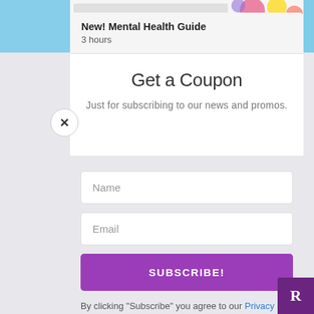[Figure (screenshot): Top strip showing partial mental health guide magazine cover with colorful background]
New! Mental Health Guide
3 hours
Get a Coupon
Just for subscribing to our news and promos.
Name
Email
SUBSCRIBE!
By clicking "Subscribe" you agree to our Privacy Policy.